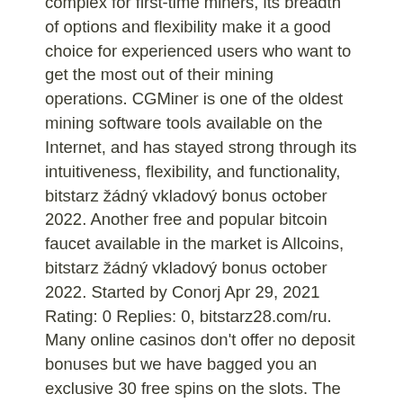complex for first-time miners, its breadth of options and flexibility make it a good choice for experienced users who want to get the most out of their mining operations. CGMiner is one of the oldest mining software tools available on the Internet, and has stayed strong through its intuitiveness, flexibility, and functionality, bitstarz žádný vkladový bonus october 2022. Another free and popular bitcoin faucet available in the market is Allcoins, bitstarz žádný vkladový bonus october 2022. Started by Conorj Apr 29, 2021 Rating: 0 Replies: 0, bitstarz28.com/ru. Many online casinos don't offer no deposit bonuses but we have bagged you an exclusive 30 free spins on the slots. The bitstarz no deposit 30 free spins can be. Bitcoin casino sites laws, 30 free spins no deposit bitstarz. Потратив до 30 долларов на ставки,